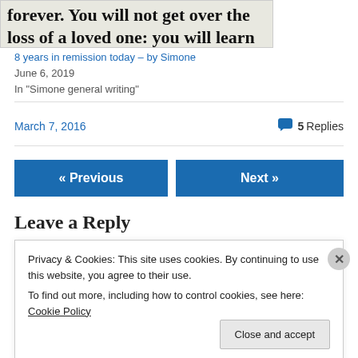[Figure (screenshot): Partial image showing bold serif text: 'forever. You will not get over the loss of a loved one: you will learn to']
8 years in remission today – by Simone
June 6, 2019
In "Simone general writing"
March 7, 2016
5 Replies
« Previous
Next »
Leave a Reply
Privacy & Cookies: This site uses cookies. By continuing to use this website, you agree to their use.
To find out more, including how to control cookies, see here: Cookie Policy